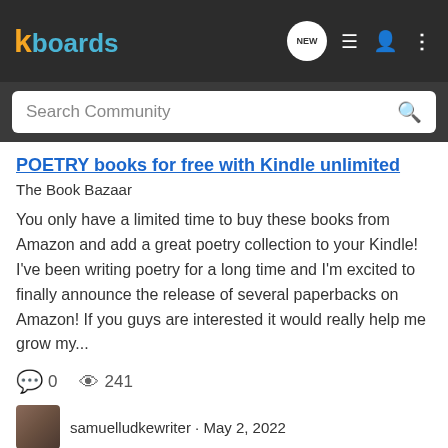kboards
Search Community
POETRY books for free with Kindle unlimited
The Book Bazaar
You only have a limited time to buy these books from Amazon and add a great poetry collection to your Kindle! I've been writing poetry for a long time and I'm excited to finally announce the release of several paperbacks on Amazon! If you guys are interested it would really help me grow my...
0   241
samuelludkewriter · May 2, 2022
books
poetry
A Region of Reverie by D. T. Adams
In this collection of writings, D. T. Adams looks at the Lake